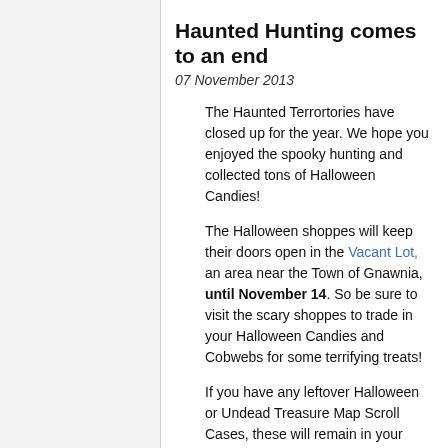Haunted Hunting comes to an end
07 November 2013
The Haunted Terrortories have closed up for the year. We hope you enjoyed the spooky hunting and collected tons of Halloween Candies!
The Halloween shoppes will keep their doors open in the Vacant Lot, an area near the Town of Gnawnia, until November 14. So be sure to visit the scary shoppes to trade in your Halloween Candies and Cobwebs for some terrifying treats!
If you have any leftover Halloween or Undead Treasure Map Scroll Cases, these will remain in your inventory and you can use them again next year.